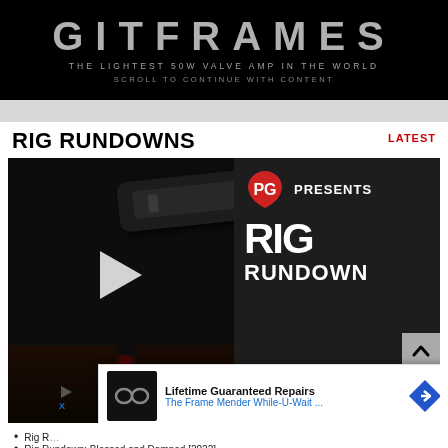[Figure (other): Dark advertisement banner for guitar amp product. Large stylized text logo at top, subtitle reads 'THE LIGHTEST 50W VALVE AMP IN THE WORLD', below reads 'SCROLL TO CONTINUE WITH CONTENT']
RIG RUNDOWNS
LATEST
[Figure (screenshot): Video thumbnail showing dark background with guitar pedal/accessory silhouette, play button in center. Right side shows PG logo with text 'PG PRESENTS' and large 'RIG RUNDOWN' text overlay. Bottom shows two people standing with guitar glow effect.]
[Figure (other): Advertisement overlay: 'Lifetime Guaranteed Repairs - The Frame Mender While-U-Wait...' with glasses icon and navigation arrow icon.]
Rig R…
Rig Rundown: blessed and Damned [2022]